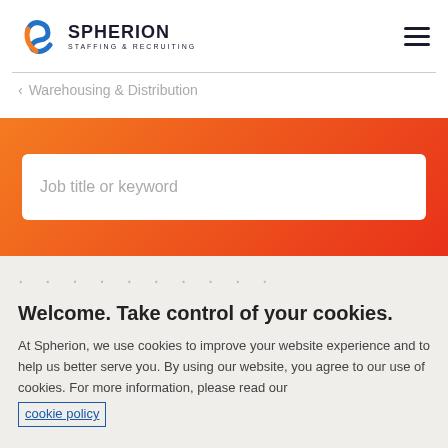Spherion Staffing & Recruiting
< Warehousing & Distribution
[Figure (screenshot): Orange-to-red gradient search banner with a white rounded search input box containing placeholder text 'Job title or keyword']
Welcome. Take control of your cookies.
At Spherion, we use cookies to improve your website experience and to help us better serve you. By using our website, you agree to our use of cookies. For more information, please read our cookie policy